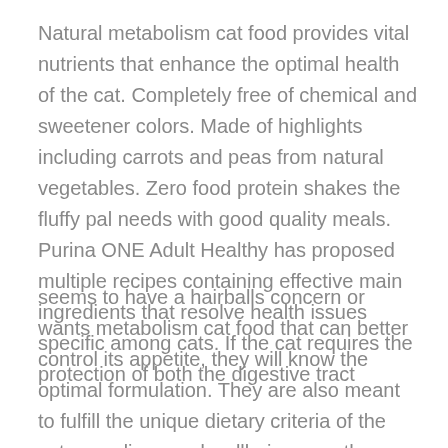Natural metabolism cat food provides vital nutrients that enhance the optimal health of the cat. Completely free of chemical and sweetener colors. Made of highlights including carrots and peas from natural vegetables. Zero food protein shakes the fluffy pal needs with good quality meals. Purina ONE Adult Healthy has proposed multiple recipes containing effective main ingredients that resolve health issues specific among cats. If the cat requires the protection of both the digestive tract
seems to have a hairballs concern or wants metabolism cat food that can better control its appetite, they will know the optimal formulation. They are also meant to fulfill the unique dietary criteria of the cat regarding good wellbeing over the entire body. Indoor kitties require a little more support to defend their kittens and to keep messy